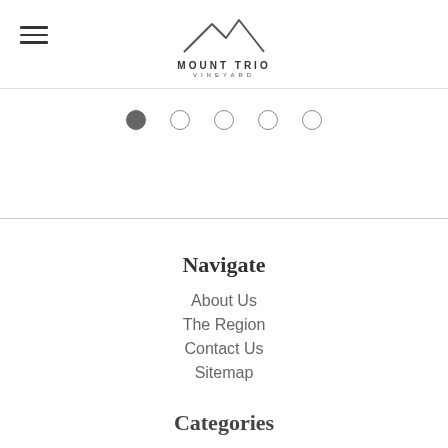Mount Trio Vineyard
[Figure (other): Slider pagination dots: 5 circles, first one filled (active), rest outlined]
Navigate
About Us
The Region
Contact Us
Sitemap
Categories
Shop Wine